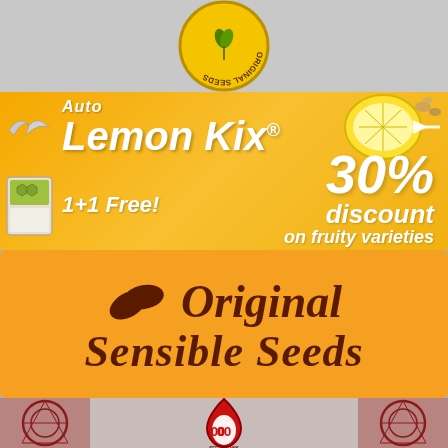[Figure (logo): Circular logo with yellow background, upside-down text reading 'ORIGINAL SEEDS' around the border]
[Figure (illustration): Auto Lemon Kix promotional banner on orange background. Text: 'Auto Lemon Kix® 1+1 Free! 30% discount on fruity varieties'. Features fruit photography (lemon, cherries, blueberries).]
[Figure (logo): Original Sensible Seeds brand logo on orange background. Shows two leaf/seed icons and company name in dark brown italic script.]
[Figure (illustration): 00 Seeds Bank promotional banner. Red drop/teardrop logo with '00' and text 'SEEDS BANK' on a decorative dark red and grey mandala/geometric pattern background.]